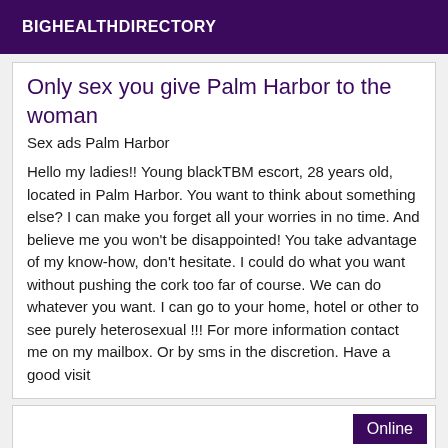BIGHEALTHDIRECTORY
Only sex you give Palm Harbor to the woman
Sex ads Palm Harbor
Hello my ladies!! Young blackTBM escort, 28 years old, located in Palm Harbor. You want to think about something else? I can make you forget all your worries in no time. And believe me you won't be disappointed! You take advantage of my know-how, don't hesitate. I could do what you want without pushing the cork too far of course. We can do whatever you want. I can go to your home, hotel or other to see purely heterosexual !!! For more information contact me on my mailbox. Or by sms in the discretion. Have a good visit
Online